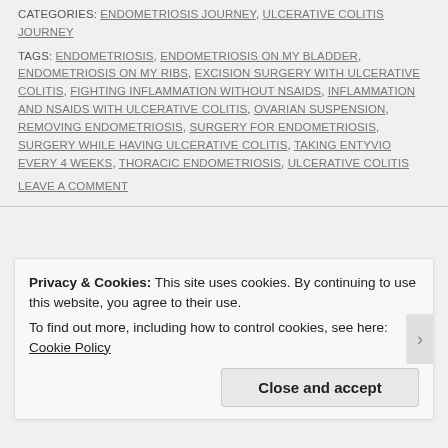CATEGORIES: ENDOMETRIOSIS JOURNEY, ULCERATIVE COLITIS JOURNEY
TAGS: ENDOMETRIOSIS, ENDOMETRIOSIS ON MY BLADDER, ENDOMETRIOSIS ON MY RIBS, EXCISION SURGERY WITH ULCERATIVE COLITIS, FIGHTING INFLAMMATION WITHOUT NSAIDS, INFLAMMATION AND NSAIDS WITH ULCERATIVE COLITIS, OVARIAN SUSPENSION, REMOVING ENDOMETRIOSIS, SURGERY FOR ENDOMETRIOSIS, SURGERY WHILE HAVING ULCERATIVE COLITIS, TAKING ENTYVIO EVERY 4 WEEKS, THORACIC ENDOMETRIOSIS, ULCERATIVE COLITIS
LEAVE A COMMENT
Privacy & Cookies: This site uses cookies. By continuing to use this website, you agree to their use. To find out more, including how to control cookies, see here: Cookie Policy
Close and accept